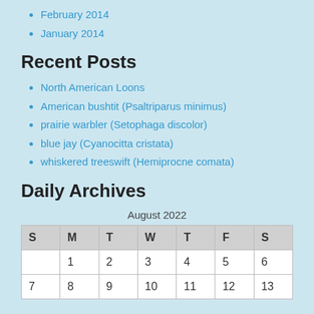February 2014
January 2014
Recent Posts
North American Loons
American bushtit (Psaltriparus minimus)
prairie warbler (Setophaga discolor)
blue jay (Cyanocitta cristata)
whiskered treeswift (Hemiprocne comata)
Daily Archives
August 2022
| S | M | T | W | T | F | S |
| --- | --- | --- | --- | --- | --- | --- |
|  | 1 | 2 | 3 | 4 | 5 | 6 |
| 7 | 8 | 9 | 10 | 11 | 12 | 13 |